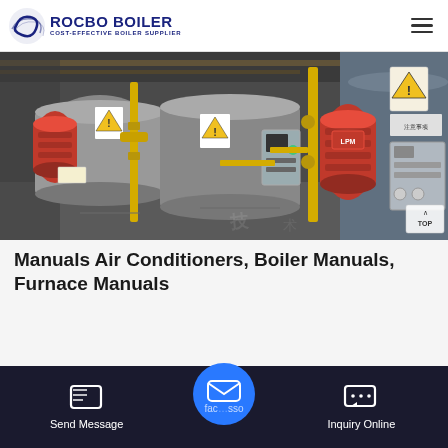[Figure (logo): Rocbo Boiler logo with circular wave icon and text 'ROCBO BOILER / COST-EFFECTIVE BOILER SUPPLIER' in dark navy blue]
[Figure (photo): Industrial boiler room with multiple gas boilers featuring red burner heads, yellow gas pipes, control panels, and warning signs on the equipment]
Manuals Air Conditioners, Boiler Manuals, Furnace Manuals
[Figure (infographic): Bottom navigation bar with dark background showing: Send Message icon on left, a circular blue email/message bubble in center, partially visible middle label, and Inquiry Online icon on right]